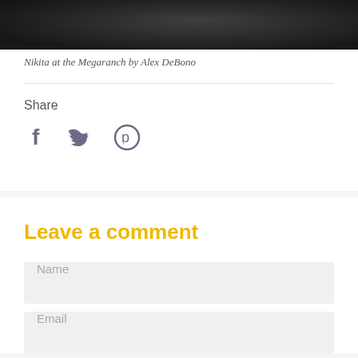[Figure (photo): Black and white photo of Nikita at the Megaranch, person in dark clothing]
Nikita at the Megaranch by Alex DeBono
Share
[Figure (infographic): Social share icons: Facebook (f), Twitter (bird), Pinterest (P)]
Leave a comment
Name
Email